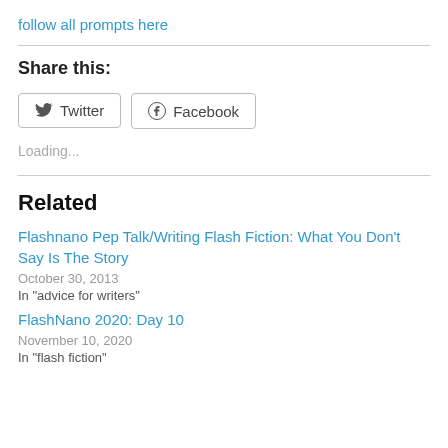follow all prompts here
Share this:
Twitter
Facebook
Loading...
Related
Flashnano Pep Talk/Writing Flash Fiction: What You Don't Say Is The Story
October 30, 2013
In "advice for writers"
FlashNano 2020: Day 10
November 10, 2020
In "flash fiction"